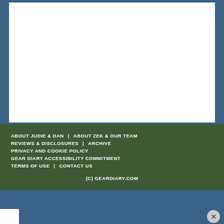[Figure (screenshot): White content area on a blue background representing the upper section of a webpage]
ABOUT JUDIE & DAN | ABOUT ZEK & OUR TEAM | REVIEWS & DISCLOSURES | ARCHIVE | PRIVACY AND COOKIE POLICY | GEAR DIARY ACCESSIBILITY COMMITMENT | TERMS OF USE | CONTACT US | (C) GEARDIARY.COM
[Figure (screenshot): Bottom browser bar showing a Weidmüller Interface advertisement with logo and Open button, and a close button]